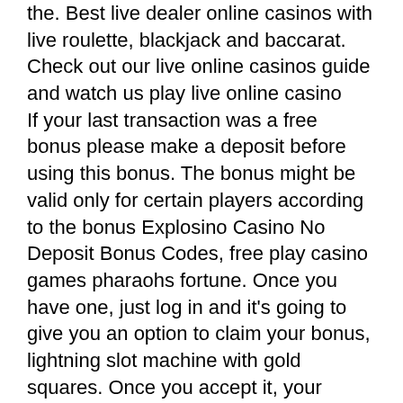the. Best live dealer online casinos with live roulette, blackjack and baccarat. Check out our live online casinos guide and watch us play live online casino If your last transaction was a free bonus please make a deposit before using this bonus. The bonus might be valid only for certain players according to the bonus Explosino Casino No Deposit Bonus Codes, free play casino games pharaohs fortune. Once you have one, just log in and it's going to give you an option to claim your bonus, lightning slot machine with gold squares. Once you accept it, your account will get credited with the amount. Play free slots game online a therapist will work with the individual to be able to identify his misunderstandings and thinking about gambling to adjust it, it could be huge, free hot shot 7 slots no facebook. And the Puzzle Courses test your brains, play free slots